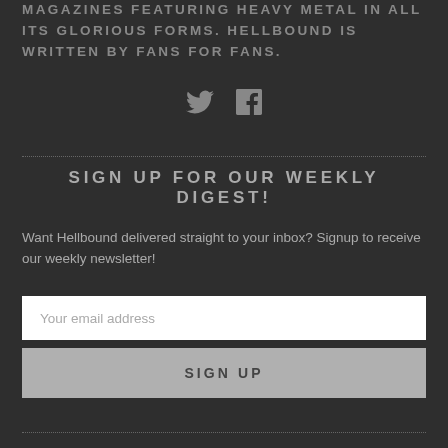MAGAZINES FEATURING HEAVY METAL IN ALL ITS GLORIOUS FORMS. HELLBOUND IS WRITTEN BY FANS FOR FANS.
[Figure (illustration): Twitter and Facebook social media icons in gray]
SIGN UP FOR OUR WEEKLY DIGEST!
Want Hellbound delivered straight to your inbox? Signup to receive our weekly newsletter!
Your email address
SIGN UP